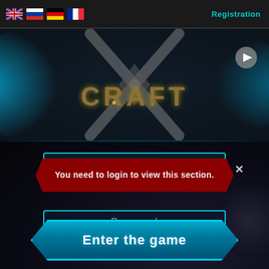Registration
[Figure (screenshot): XCraft game logo banner with metallic X and CRAFT text, cyan lens flare lighting effects on dark metallic background]
You need to login to view this section.
Password
Enter the game